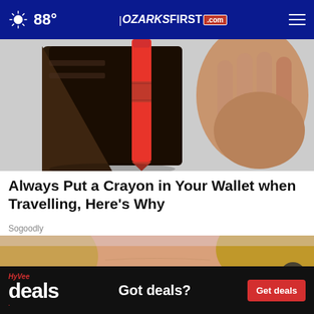88° | OZARKSFIRST.com
[Figure (photo): Close-up photo of a hand inserting a red crayon into a dark wallet or book]
Always Put a Crayon in Your Wallet when Travelling, Here's Why
Sogoodly
[Figure (photo): Close-up photo of a blonde woman's forehead/face]
[Figure (screenshot): HyVee Deals advertisement banner: 'Got deals? Get deals']